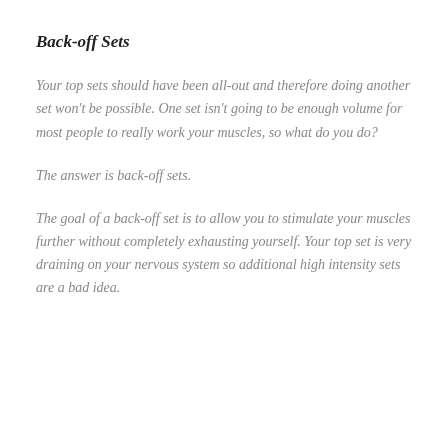Back-off Sets
Your top sets should have been all-out and therefore doing another set won't be possible. One set isn't going to be enough volume for most people to really work your muscles, so what do you do?
The answer is back-off sets.
The goal of a back-off set is to allow you to stimulate your muscles further without completely exhausting yourself. Your top set is very draining on your nervous system so additional high intensity sets are a bad idea.